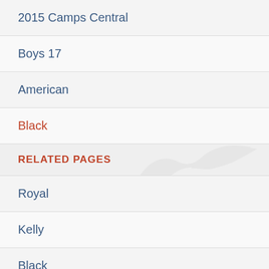2015 Camps Central
Boys 17
American
Black
RELATED PAGES
Royal
Kelly
Black